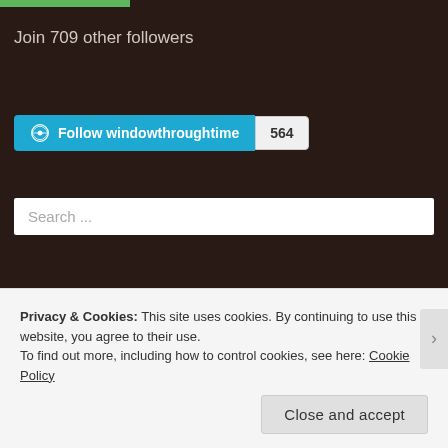[Figure (other): Green progress bar at top of page]
Join 709 other followers
[Figure (other): WordPress Follow windowthroughtime button with count 564]
Search ...
RECENT POSTS
When Last I Died
Privacy & Cookies: This site uses cookies. By continuing to use this website, you agree to their use.
To find out more, including how to control cookies, see here: Cookie Policy
Close and accept